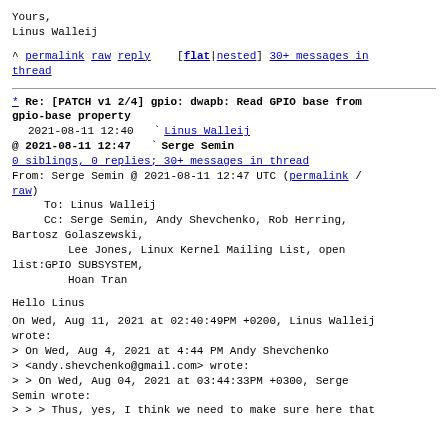Yours,
Linus Walleij
^ permalink raw reply    [flat|nested] 30+ messages in thread
* Re: [PATCH v1 2/4] gpio: dwapb: Read GPIO base from gpio-base property
    2021-08-11 12:40          ` Linus Walleij
@ 2021-08-11 12:47          ` Serge Semin
  0 siblings, 0 replies; 30+ messages in thread
From: Serge Semin @ 2021-08-11 12:47 UTC (permalink / raw)
  To: Linus Walleij
  Cc: Serge Semin, Andy Shevchenko, Rob Herring, Bartosz Golaszewski,
          Lee Jones, Linux Kernel Mailing List, open list:GPIO SUBSYSTEM,
          Hoan Tran

Hello Linus

On Wed, Aug 11, 2021 at 02:40:49PM +0200, Linus Walleij wrote:
> On Wed, Aug 4, 2021 at 4:44 PM Andy Shevchenko
> <andy.shevchenko@gmail.com> wrote:
> > On Wed, Aug 04, 2021 at 03:44:33PM +0300, Serge Semin wrote:
> > > Thus, yes, I think we need to make sure here that